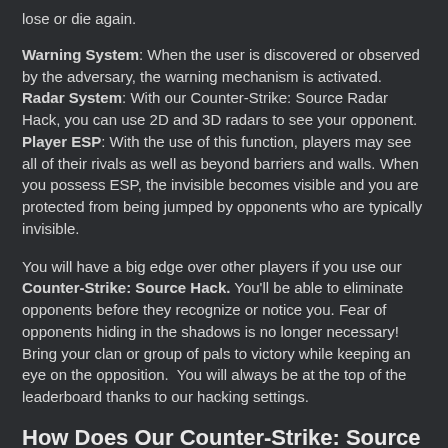lose or die again.
Warning System: When the user is discovered or observed by the adversary, the warning mechanism is activated. Radar System: With our Counter-Strike: Source Radar Hack, you can use 2D and 3D radars to see your opponent. Player ESP: With the use of this function, players may see all of their rivals as well as beyond barriers and walls. When you possess ESP, the invisible becomes visible and you are protected from being jumped by opponents who are typically invisible.
You will have a big edge over other players if you use our Counter-Strike: Source Hack. You'll be able to eliminate opponents before they recognize or notice you. Fear of opponents hiding in the shadows is no longer necessary! Bring your clan or group of pals to victory while keeping an eye on the opposition.  You will always be at the top of the leaderboard thanks to our hacking settings.
How Does Our Counter-Strike: Source Cheat/Hack Work?
Utilizing our Counter-Strike: Source Cheat is simple. It's really